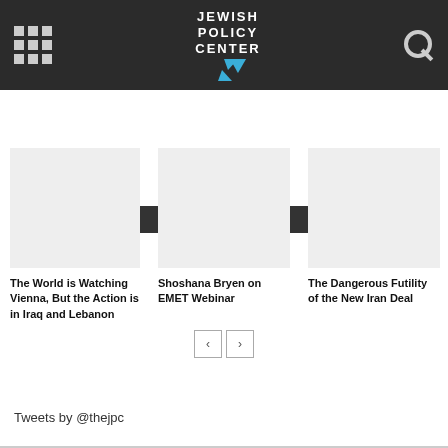Jewish Policy Center
RELATED ARTICLES
The World is Watching Vienna, But the Action is in Iraq and Lebanon
Shoshana Bryen on EMET Webinar
The Dangerous Futility of the New Iran Deal
@theJPC on Twitter
Tweets by @thejpc